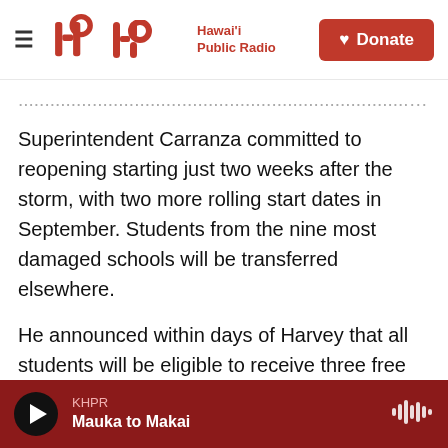Hawai'i Public Radio — Donate
Superintendent Carranza committed to reopening starting just two weeks after the storm, with two more rolling start dates in September. Students from the nine most damaged schools will be transferred elsewhere.
He announced within days of Harvey that all students will be eligible to receive three free meals at school for the entire year. Breakfast will be served in the classroom or handed to students as they get off the bus; dinner will be available at after-school programs or packaged for students to take home. The district is giving out free school
KHPR — Mauka to Makai